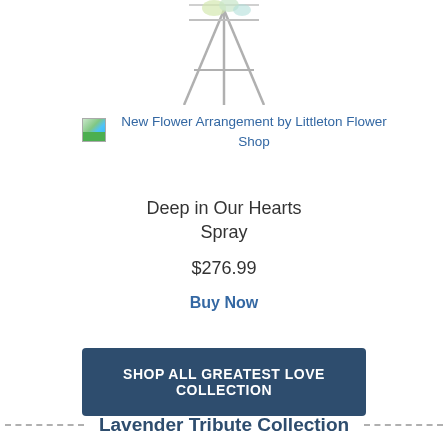[Figure (illustration): Partial floral arrangement on an easel stand, cropped at the top of the page]
[Figure (photo): Small thumbnail image placeholder for New Flower Arrangement by Littleton Flower Shop]
New Flower Arrangement by Littleton Flower Shop
Deep in Our Hearts Spray
$276.99
Buy Now
SHOP ALL GREATEST LOVE COLLECTION
Lavender Tribute Collection